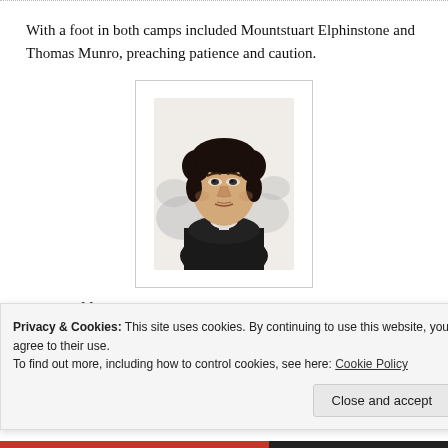With a foot in both camps included Mountstuart Elphinstone and Thomas Munro, preaching patience and caution.
[Figure (illustration): Black and white engraved portrait of Mountstuart Elphinstone, showing a young man with curly hair wearing a dark coat with white cravat, set against a cloudy/shaded background.]
— Mountstuart Elphinstone
Privacy & Cookies: This site uses cookies. By continuing to use this website, you agree to their use.
To find out more, including how to control cookies, see here: Cookie Policy